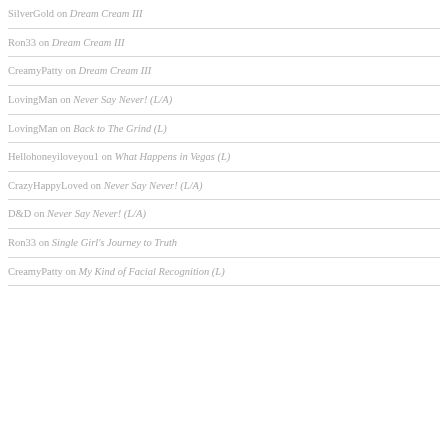SilverGold on Dream Cream III
Ron33 on Dream Cream III
CreamyPatty on Dream Cream III
LovingMan on Never Say Never! (L/A)
LovingMan on Back to The Grind (L)
Hellohoneyiloveyou1 on What Happens in Vegas (L)
CrazyHappyLoved on Never Say Never! (L/A)
D&D on Never Say Never! (L/A)
Ron33 on Single Girl's Journey to Truth
CreamyPatty on My Kind of Facial Recognition (L)